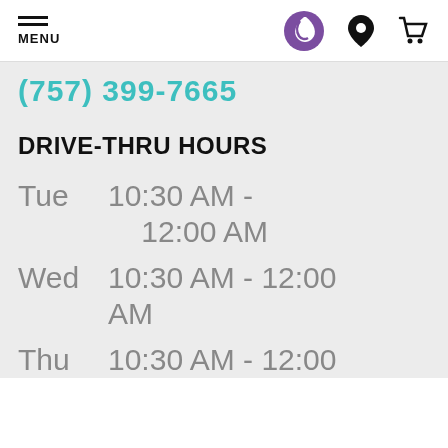MENU | Taco Bell logo | Location icon | Cart icon
(757) 399-7665
DRIVE-THRU HOURS
Tue   10:30 AM - 12:00 AM
Wed  10:30 AM - 12:00 AM
Thu   10:30 AM - 12:00